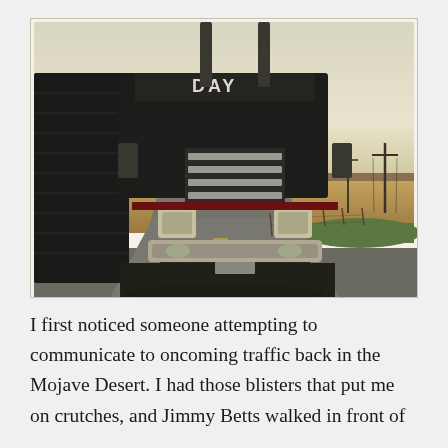[Figure (photo): A large semi-truck (Peterbilt style) with 'DAY' written on the cab visor, pulling a dark trailer, driving towards the camera on a two-lane highway through flat, open farmland under a hazy sky. Power lines and fence posts run along the right side of the road.]
I first noticed someone attempting to communicate to oncoming traffic back in the Mojave Desert. I had those blisters that put me on crutches, and Jimmy Betts walked in front of